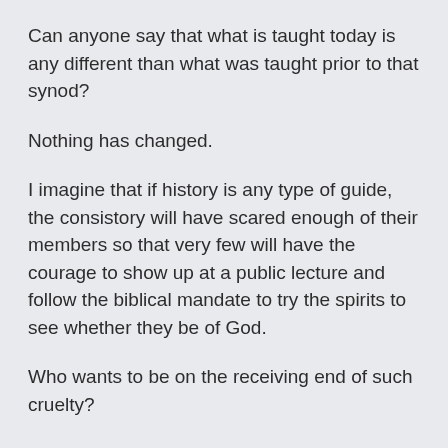Can anyone say that what is taught today is any different than what was taught prior to that synod?
Nothing has changed.
I imagine that if history is any type of guide, the consistory will have scared enough of their members so that very few will have the courage to show up at a public lecture and follow the biblical mandate to try the spirits to see whether they be of God.
Who wants to be on the receiving end of such cruelty?
As for the faithful former (and current) members of Redlands PRC who now find themselves being slandered by their consistory and yet clearly see their calling?